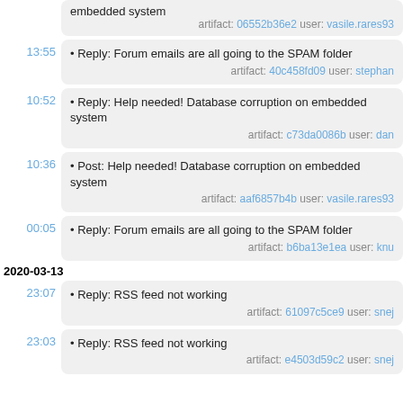embedded system artifact: 06552b36e2 user: vasile.rares93
13:55 • Reply: Forum emails are all going to the SPAM folder artifact: 40c458fd09 user: stephan
10:52 • Reply: Help needed! Database corruption on embedded system artifact: c73da0086b user: dan
10:36 • Post: Help needed! Database corruption on embedded system artifact: aaf6857b4b user: vasile.rares93
00:05 • Reply: Forum emails are all going to the SPAM folder artifact: b6ba13e1ea user: knu
2020-03-13
23:07 • Reply: RSS feed not working artifact: 61097c5ce9 user: snej
23:03 • Reply: RSS feed not working artifact: e4503d59c2 user: snej